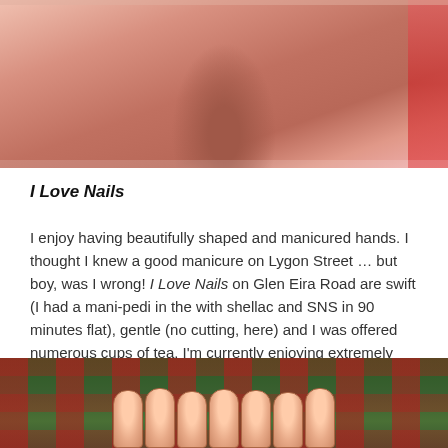[Figure (photo): Woman in dusty rose off-shoulder lace dress, cropped at torso, pink interior background with red curtain]
I Love Nails
I enjoy having beautifully shaped and manicured hands. I thought I knew a good manicure on Lygon Street … but boy, was I wrong! I Love Nails on Glen Eira Road are swift (I had a mani-pedi in the with shellac and SNS in 90 minutes flat), gentle (no cutting, here) and I was offered numerous cups of tea. I'm currently enjoying extremely pointy retro nails, and they do an extraordinarily good job.
[Figure (photo): Elf on the Shelf dolls arranged in a row on a plaid green and red background, with a person partially visible]